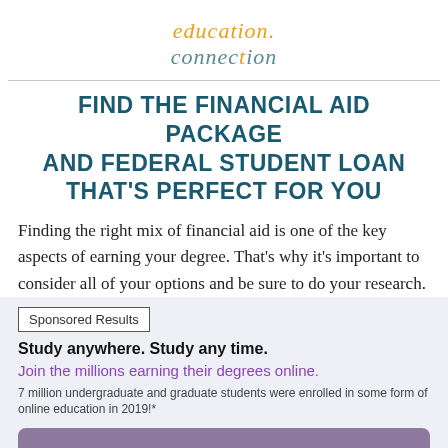[Figure (logo): Education Connection logo — 'education' in orange italic serif and 'connection' in teal italic serif with orange dot]
FIND THE FINANCIAL AID PACKAGE AND FEDERAL STUDENT LOAN THAT'S PERFECT FOR YOU
Finding the right mix of financial aid is one of the key aspects of earning your degree. That's why it's important to consider all of your options and be sure to do your research.
Sponsored Results
Study anywhere. Study any time.
Join the millions earning their degrees online.
7 million undergraduate and graduate students were enrolled in some form of online education in 2019!*
Let's Get Started